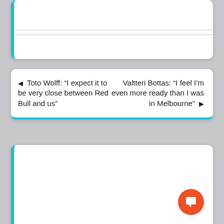[Figure (screenshot): Top white card with teal left border and horizontal divider lines, partially visible at top of page]
◀ Toto Wolff: “I expect it to be very close between Red Bull and us”
Valtteri Bottas: “I feel I’m even more ready than I was in Melbourne” ▶
[Figure (screenshot): Bottom white card with teal left border, mostly empty white content area with orange circular chat/comment FAB button in bottom right corner]